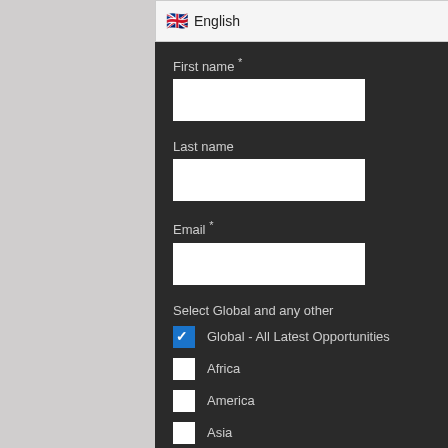English
First name *
Last name
Email *
Select Global and any other
Global - All Latest Opportunities
Africa
America
Asia
Australia/Oceania